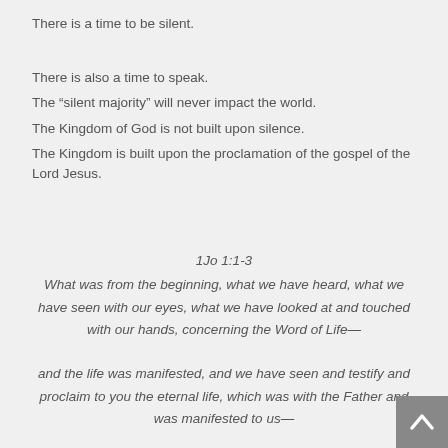There is a time to be silent.
There is also a time to speak.
The “silent majority” will never impact the world.
The Kingdom of God is not built upon silence.
The Kingdom is built upon the proclamation of the gospel of the Lord Jesus.
1Jo 1:1-3
What was from the beginning, what we have heard, what we have seen with our eyes, what we have looked at and touched with our hands, concerning the Word of Life— and the life was manifested, and we have seen and testify and proclaim to you the eternal life, which was with the Father and was manifested to us— what we have seen and heard we proclaim to you also, so that you too may have fellowship with us; and indeed our fellowship is with the Father, and with His Son Jesus Christ.